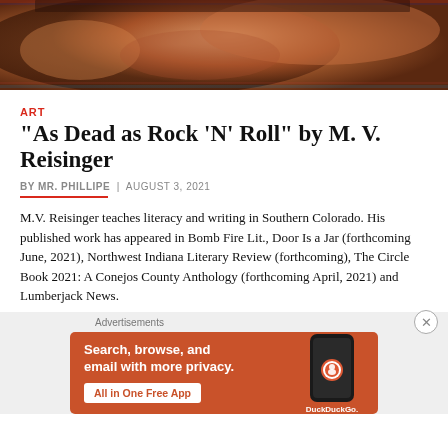[Figure (photo): Close-up photo of a snake or reptile with glitch/chromatic aberration effect, warm orangey-brown tones]
ART
“As Dead as Rock ‘N’ Roll” by M. V. Reisinger
BY MR. PHILLIPE | AUGUST 3, 2021
M.V. Reisinger teaches literacy and writing in Southern Colorado. His published work has appeared in Bomb Fire Lit., Door Is a Jar (forthcoming June, 2021), Northwest Indiana Literary Review (forthcoming), The Circle Book 2021: A Conejos County Anthology (forthcoming April, 2021) and Lumberjack News.
[Figure (screenshot): DuckDuckGo advertisement banner with orange background: 'Search, browse, and email with more privacy. All in One Free App' with DuckDuckGo logo and phone mockup]